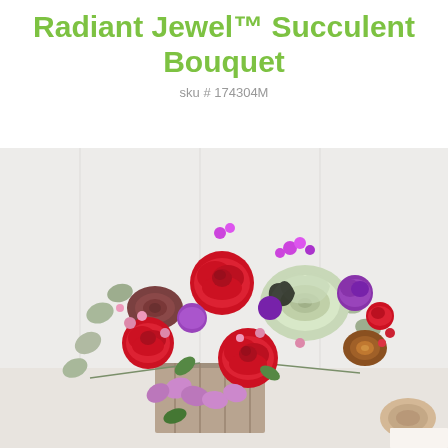Radiant Jewel™ Succulent Bouquet
sku # 174304M
[Figure (photo): A colorful succulent and flower bouquet featuring red roses, purple carnations, lavender alstroemeria, pink wax flowers, green and burgundy succulents, and eucalyptus, arranged in a rustic wooden box vase on a white background.]